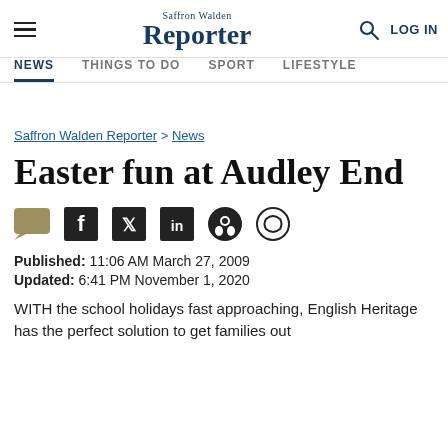Saffron Walden Reporter
NEWS | THINGS TO DO | SPORT | LIFESTYLE
Saffron Walden Reporter > News
Easter fun at Audley End
Published: 11:06 AM March 27, 2009
Updated: 6:41 PM November 1, 2020
WITH the school holidays fast approaching, English Heritage has the perfect solution to get families out